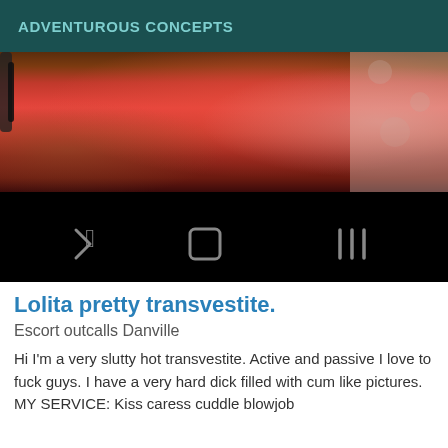ADVENTUROUS CONCEPTS
[Figure (photo): Photo showing a person in red clothing/lingerie at the top half, with the bottom half being a black background showing Android navigation bar icons (back arrow, home circle, recents/menu bars).]
Lolita pretty transvestite.
Escort outcalls Danville
Hi I'm a very slutty hot transvestite. Active and passive I love to fuck guys. I have a very hard dick filled with cum like pictures. MY SERVICE: Kiss caress cuddle blowjob